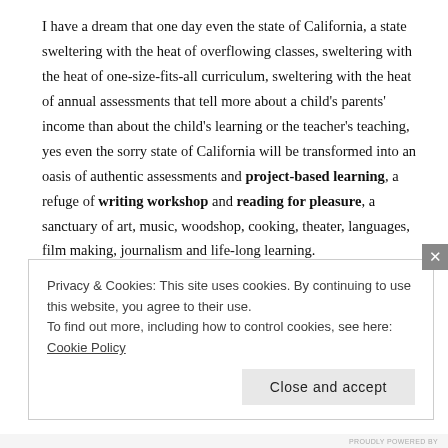I have a dream that one day even the state of California, a state sweltering with the heat of overflowing classes, sweltering with the heat of one-size-fits-all curriculum, sweltering with the heat of annual assessments that tell more about a child's parents' income than about the child's learning or the teacher's teaching, yes even the sorry state of California will be transformed into an oasis of authentic assessments and project-based learning, a refuge of writing workshop and reading for pleasure, a sanctuary of art, music, woodshop, cooking, theater, languages, film making, journalism and life-long learning.
Privacy & Cookies: This site uses cookies. By continuing to use this website, you agree to their use.
To find out more, including how to control cookies, see here: Cookie Policy